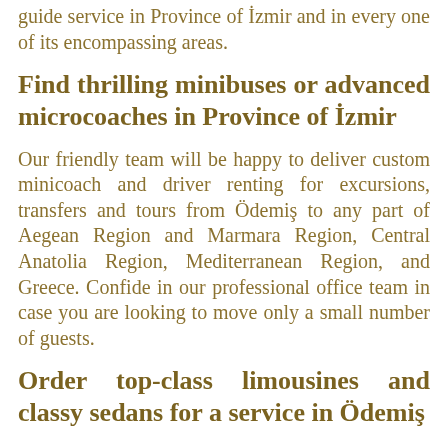guide service in Province of İzmir and in every one of its encompassing areas.
Find thrilling minibuses or advanced microcoaches in Province of İzmir
Our friendly team will be happy to deliver custom minicoach and driver renting for excursions, transfers and tours from Ödemiş to any part of Aegean Region and Marmara Region, Central Anatolia Region, Mediterranean Region, and Greece. Confide in our professional office team in case you are looking to move only a small number of guests.
Order top-class limousines and classy sedans for a service in Ödemiş
Through the coach tour company City Tours Europe, private orderers and business people are welcome to order a